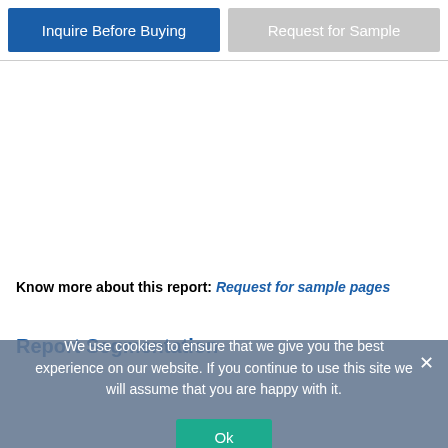Inquire Before Buying
Request for Sample
Know more about this report: Request for sample pages
Report Segmentation
We use cookies to ensure that we give you the best experience on our website. If you continue to use this site we will assume that you are happy with it.